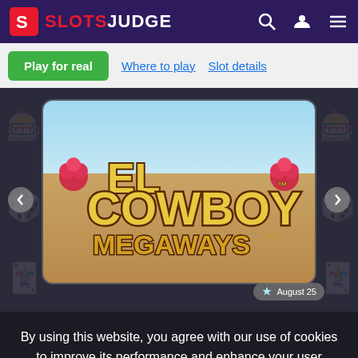SLOTS JUDGE
Play for real | Where to play | Slot details
[Figure (screenshot): El Cowboy Megaways slot game logo/title art showing colorful western-themed text with roses on a desert background]
By using this website, you agree with our use of cookies to improve its performance and enhance your user experience. More info in our cookies policy page.
Ok